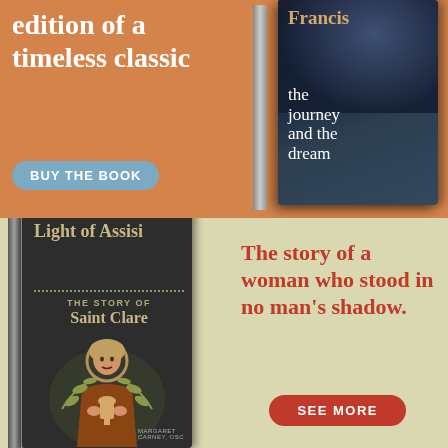[Figure (illustration): Top book advertisement: orange background with white bold text 'edition of a timeless classic', a blue-gray oval button 'BUY THE BOOK', and a 3D book cover titled 'Francis the journey and the dream' on the right side.]
[Figure (illustration): Bottom book advertisement: olive/tan background with red bold text 'The story of a woman who stood in no man's shadow.', a red pill-shaped button 'SEE MORE', and a 3D book cover titled 'Light of Assisi: The Story of Saint Clare' with an illustration of Saint Clare on the left side.]